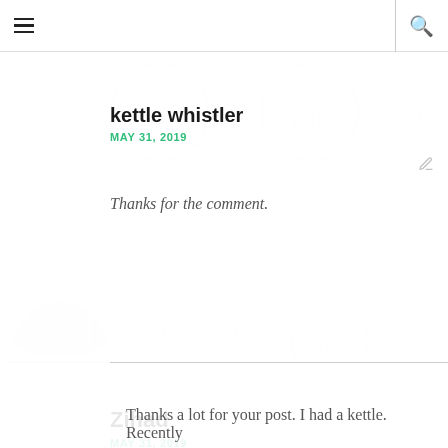≡  [search icon]
kettle whistler
MAY 31, 2019
Thanks for the comment.
Zihad
MAY 31, 2019
Thanks a lot for your post. I had a kettle. Recently